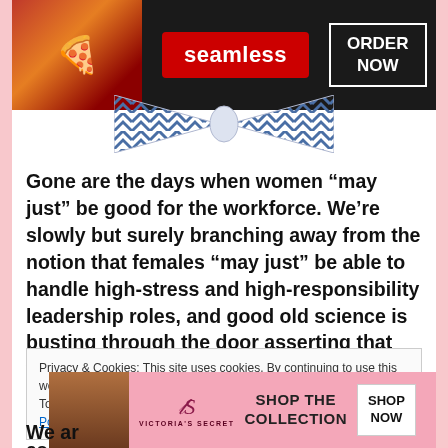[Figure (screenshot): Seamless food delivery advertisement banner with dark background, pizza image on left, red Seamless badge in center, and 'ORDER NOW' button on right]
[Figure (illustration): Decorative bow tie or ribbon graphic with chevron/arrow pattern in blue and white]
Gone are the days when women “may just” be good for the workforce. We’re slowly but surely branching away from the notion that females “may just” be able to handle high-stress and high-responsibility leadership roles, and good old science is busting through the door asserting that we no longer need to shrug our shoulders, tilt our heads, and skeptically say that female leaders “may just” be as beneficial as men.
Privacy & Cookies: This site uses cookies. By continuing to use this website, you agree to their use.
To find out more, including how to control cookies, see here: Cookie Policy
[Figure (screenshot): Victoria's Secret advertisement showing a model, the VS logo, 'SHOP THE COLLECTION' text, and a 'SHOP NOW' button on pink background]
We ar